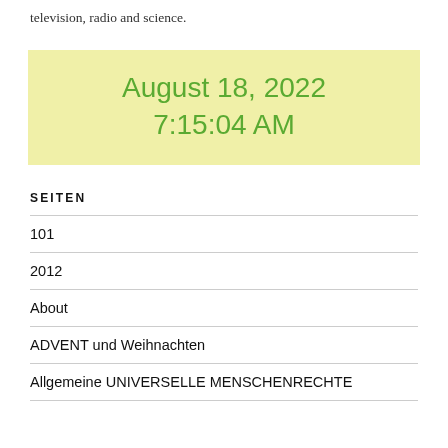television, radio and science.
August 18, 2022
7:15:04 AM
SEITEN
101
2012
About
ADVENT und Weihnachten
Allgemeine UNIVERSELLE MENSCHENRECHTE